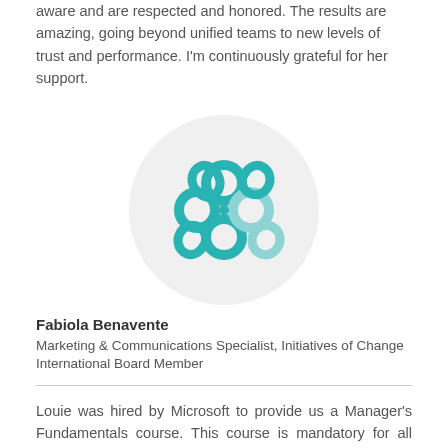aware and are respected and honored. The results are amazing, going beyond unified teams to new levels of trust and performance. I'm continuously grateful for her support.
[Figure (logo): Circular logo with a teal/turquoise flower-like interlocking loops symbol on a light grey circular background]
Fabiola Benavente
Marketing & Communications Specialist, Initiatives of Change International Board Member
Louie was hired by Microsoft to provide us a Manager's Fundamentals course. This course is mandatory for all even those, like me, who have been managers of people for almost